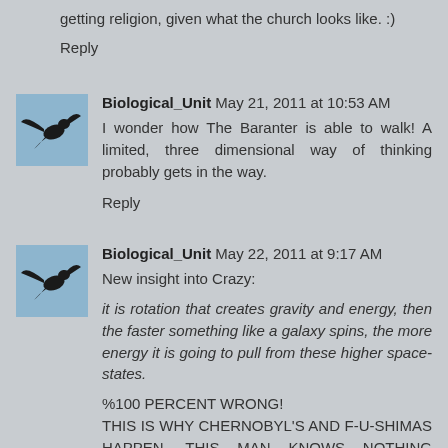getting religion, given what the church looks like. :)
Reply
Biological_Unit May 21, 2011 at 10:53 AM
I wonder how The Baranter is able to walk! A limited, three dimensional way of thinking probably gets in the way.
Reply
Biological_Unit May 22, 2011 at 9:17 AM
New insight into Crazy:
it is rotation that creates gravity and energy, then the faster something like a galaxy spins, the more energy it is going to pull from these higher space-states.
%100 PERCENT WRONG! THIS IS WHY CHERNOBYL'S AND F-U-SHIMAS HAPPEN. THIS MAN KNOWS NOTHING ABOUT